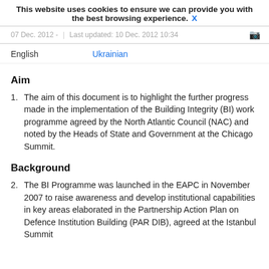This website uses cookies to ensure we can provide you with the best browsing experience. X
07 Dec. 2012 - | Last updated: 10 Dec. 2012 10:34
English   Ukrainian
Aim
1. The aim of this document is to highlight the further progress made in the implementation of the Building Integrity (BI) work programme agreed by the North Atlantic Council (NAC) and noted by the Heads of State and Government at the Chicago Summit.
Background
2. The BI Programme was launched in the EAPC in November 2007 to raise awareness and develop institutional capabilities in key areas elaborated in the Partnership Action Plan on Defence Institution Building (PAR DIB), agreed at the Istanbul Summit